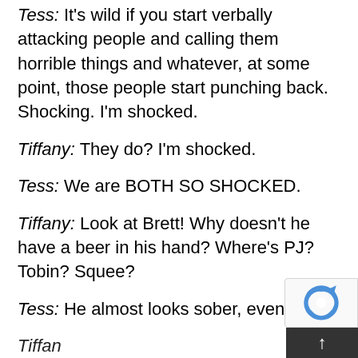Tess: It's wild if you start verbally attacking people and calling them horrible things and whatever, at some point, those people start punching back.  Shocking. I'm shocked.
Tiffany: They do? I'm shocked.
Tess: We are BOTH SO SHOCKED.
Tiffany: Look at Brett! Why doesn't he have a beer in his hand? Where's PJ? Tobin? Squee?
Tess: He almost looks sober, even!
Tiffany: I would better that from the looks...